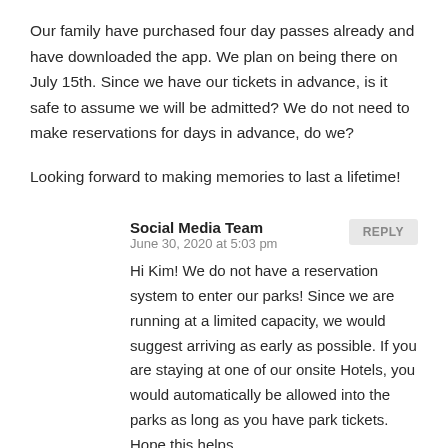Our family have purchased four day passes already and have downloaded the app. We plan on being there on July 15th. Since we have our tickets in advance, is it safe to assume we will be admitted? We do not need to make reservations for days in advance, do we?
Looking forward to making memories to last a lifetime!
Social Media Team
June 30, 2020 at 5:03 pm
Hi Kim! We do not have a reservation system to enter our parks! Since we are running at a limited capacity, we would suggest arriving as early as possible. If you are staying at one of our onsite Hotels, you would automatically be allowed into the parks as long as you have park tickets. Hope this helps.